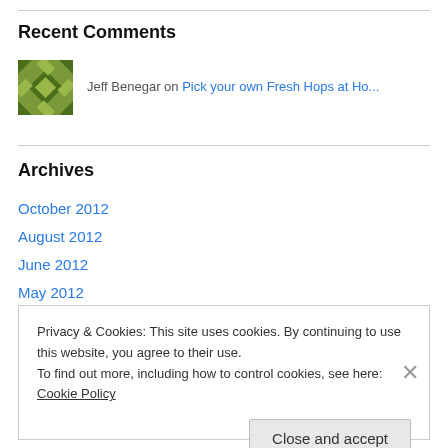Recent Comments
Jeff Benegar on Pick your own Fresh Hops at Ho...
Archives
October 2012
August 2012
June 2012
May 2012
Privacy & Cookies: This site uses cookies. By continuing to use this website, you agree to their use.
To find out more, including how to control cookies, see here: Cookie Policy
Close and accept